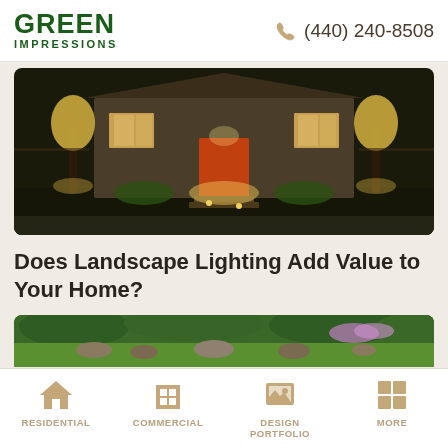GREEN IMPRESSIONS | (440) 240-8508
[Figure (photo): Nighttime exterior photo of a home with landscape lighting illuminating the front facade, steps, and trees]
Does Landscape Lighting Add Value to Your Home?
[Figure (photo): Daytime outdoor photo of a stone retaining wall with a fire pit and Adirondack chairs, surrounded by lush green landscaping and flowering shrubs]
RESIDENTIAL | COMMERCIAL | DESIGN PORTFOLIO | MORE